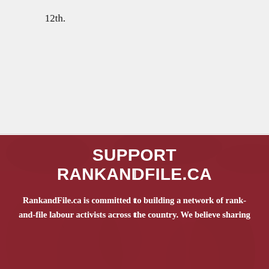12th.
[Figure (photo): Dark red/maroon tinted photo of crowd/labour activists in the background of a support banner for RankandFile.ca]
SUPPORT RANKANDFILE.CA
RankandFile.ca is committed to building a network of rank-and-file labour activists across the country. We believe sharing